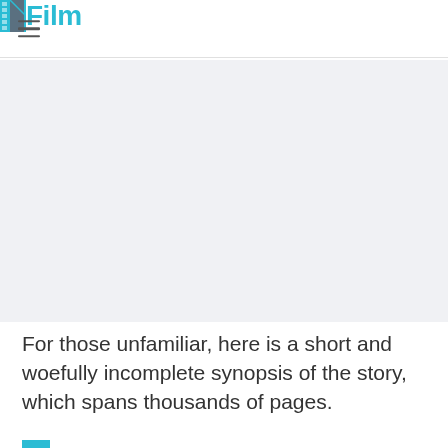/Film
[Figure (other): Large grey advertisement or placeholder image area]
For those unfamiliar, here is a short and woefully incomplete synopsis of the story, which spans thousands of pages.